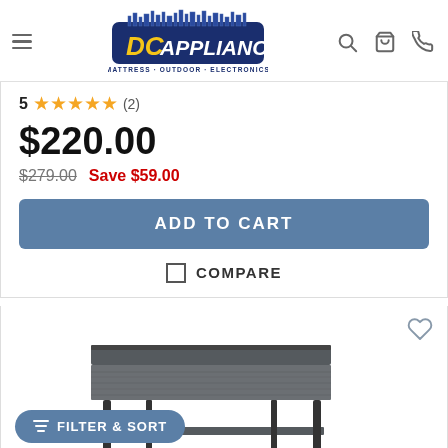[Figure (logo): DC Appliance logo with tagline: Mattress · Outdoor · Electronics]
5 ★★★★★ (2)
$220.00
$279.00  Save $59.00
ADD TO CART
COMPARE
[Figure (photo): Dark grey/charcoal wood console/TV stand furniture piece with shelf, partially visible at the bottom of the page]